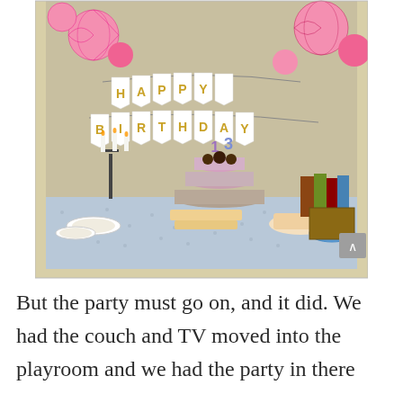[Figure (photo): Birthday party food table with a Happy Birthday banner hung above. Pink honeycomb ball decorations hang from the ceiling. Gold letters on white pennant flags spell out HAPPY BIRTHDAY in two rows. On the table: a tiered cupcake/cake stand with a 13 candle, plates of food and sandwiches, a candelabra with white candles, bowls of snacks, a blue star-print tablecloth. Books and a decorative box visible on the right side.]
But the party must go on, and it did. We had the couch and TV moved into the playroom and we had the party in there